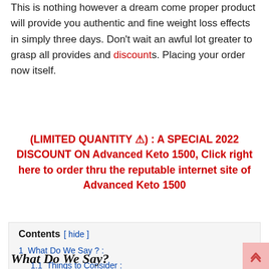This is nothing however a dream come proper product will provide you authentic and fine weight loss effects in simply three days. Don't wait an awful lot greater to grasp all provides and discounts. Placing your order now itself.
(LIMITED QUANTITY ⚠) : A SPECIAL 2022 DISCOUNT ON Advanced Keto 1500, Click right here to order thru the reputable internet site of Advanced Keto 1500
Contents [hide]
1  What Do We Say ? :
1.1  Things to Consider :
1.1.1  Tips & Advice
1.1.2  Disclaimer
What Do We Say?